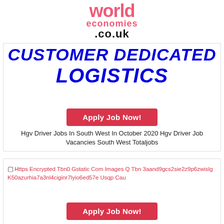world economies .co.uk
[Figure (illustration): Bold italic blue text reading CUSTOMER DEDICATED LOGISTICS on white background]
Apply Job Now!
Hgv Driver Jobs In South West In October 2020 Hgv Driver Job Vacancies South West Totaljobs
[Figure (photo): Broken image with alt text: Https Encrypted Tbn0 Gstatic Com Images Q Tbn 3aand9gcs2sie2z9p6zwislg K50azurhia7a3nl4ciginr7lyio6ed57e Usqp Cau]
Apply Job Now!
Https Encrypted Tbn0 Gstatic Com Images Q Tbn